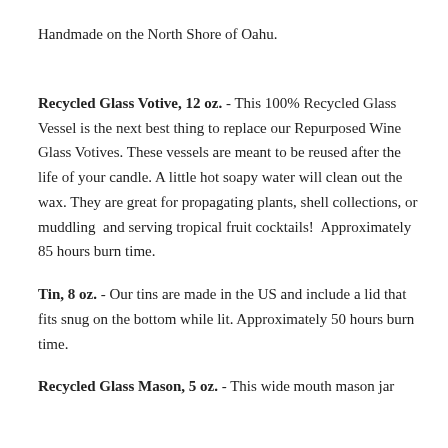Handmade on the North Shore of Oahu.
Recycled Glass Votive, 12 oz. - This 100% Recycled Glass Vessel is the next best thing to replace our Repurposed Wine Glass Votives. These vessels are meant to be reused after the life of your candle. A little hot soapy water will clean out the wax. They are great for propagating plants, shell collections, or muddling and serving tropical fruit cocktails! Approximately 85 hours burn time.
Tin, 8 oz. - Our tins are made in the US and include a lid that fits snug on the bottom while lit. Approximately 50 hours burn time.
Recycled Glass Mason, 5 oz. - This wide mouth mason jar